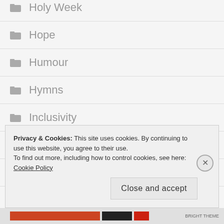Holy Week
Hope
Humour
Hymns
Inclusivity
Jane Austen
Jasper
Privacy & Cookies: This site uses cookies. By continuing to use this website, you agree to their use. To find out more, including how to control cookies, see here: Cookie Policy
Close and accept